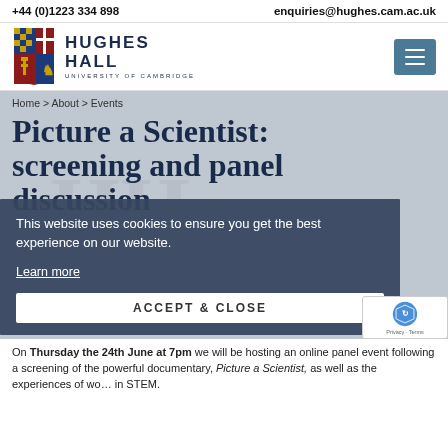+44 (0)1223 334 898   enquiries@hughes.cam.ac.uk
[Figure (logo): Hughes Hall University of Cambridge logo with shield/crest]
Home > About > Events
Picture a Scientist: screening and panel discussion
This website uses cookies to ensure you get the best experience on our website.
Learn more
ACCEPT & CLOSE
On Thursday the 24th June at 7pm we will be hosting an online panel event following a screening of the powerful documentary, Picture a Scientist, as well as the experiences of women in STEM.